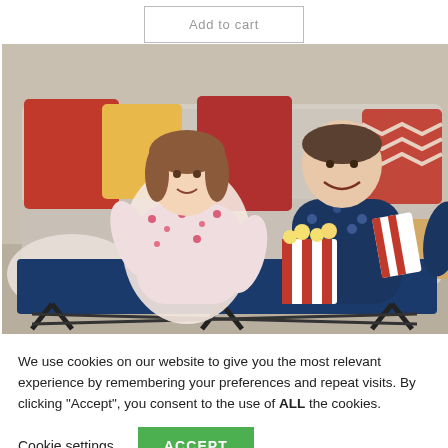Add to cart
[Figure (photo): Two young children in pajamas sitting on a navy blue folding cot/travel bed in front of a beige sofa with colorful pillows. The girl on the left wears floral pajamas and the boy on the right wears dark blue patterned pajamas. There is a popcorn box between them.]
We use cookies on our website to give you the most relevant experience by remembering your preferences and repeat visits. By clicking “Accept”, you consent to the use of ALL the cookies.
Cookie settings
ACCEPT